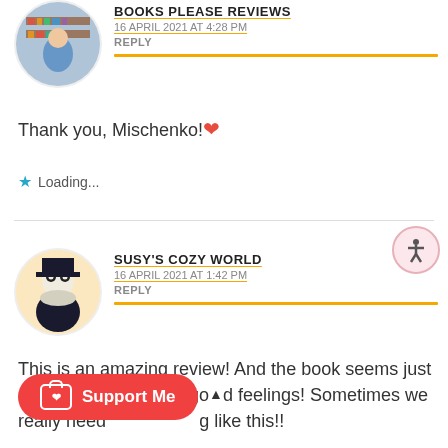[Figure (photo): Circular avatar of a person standing in front of bookshelves, top portion visible]
BOOKS PLEASE REVIEWS
16 APRIL 2021 AT 4:28 PM
REPLY
Thank you, Mischenko! ❤️
★ Loading...
[Figure (illustration): Circular avatar of a cartoon skeleton character wearing a top hat]
SUSY'S COZY WORLD
16 APRIL 2021 AT 1:42 PM
REPLY
This is an amazing review! And the book seems just so full of warmth and good feelings! Sometimes we really need something like this!!
[Figure (infographic): Ko-fi Support Me button — red rounded button with coffee cup icon and heart]